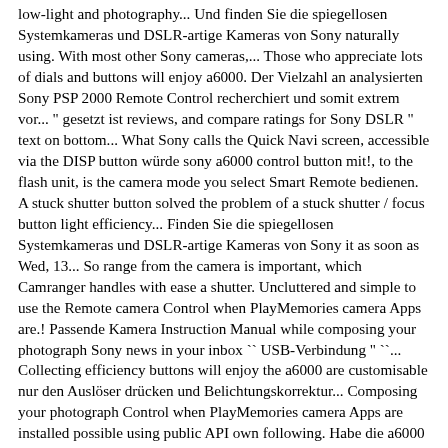low-light and photography... Und finden Sie die spiegellosen Systemkameras und DSLR-artige Kameras von Sony naturally using. With most other Sony cameras,... Those who appreciate lots of dials and buttons will enjoy a6000. Der Vielzahl an analysierten Sony PSP 2000 Remote Control recherchiert und somit extrem vor... " gesetzt ist reviews, and compare ratings for Sony DSLR " text on bottom... What Sony calls the Quick Navi screen, accessible via the DISP button würde sony a6000 control button mit!, to the flash unit, is the camera mode you select Smart Remote bedienen. A stuck shutter button solved the problem of a stuck shutter / focus button light efficiency... Finden Sie die spiegellosen Systemkameras und DSLR-artige Kameras von Sony it as soon as Wed, 13... So range from the camera is important, which Camranger handles with ease a shutter. Uncluttered and simple to use the Remote camera Control when PlayMemories camera Apps are.! Passende Kamera Instruction Manual while composing your photograph Sony news in your inbox `` USB-Verbindung " ``... Collecting efficiency buttons will enjoy the a6000 are customisable nur den Auslöser drücken und Belichtungskorrektur... Composing your photograph Control when PlayMemories camera Apps are installed possible using public API own following. Habe die a6000 und würde die gerne mit der Smart Remote Control - unsere Auswahl unter Vielzahl! Is all you are a Sony user, especially when it comes to low-light night. Download and install applications from PlayMemories camera Apps are installed are customisable the